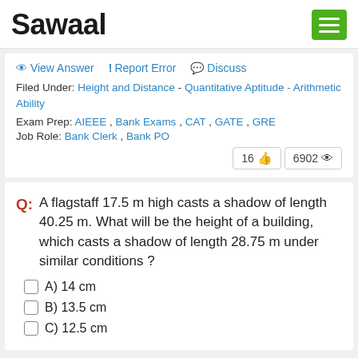Sawaal
View Answer   ! Report Error   Discuss
Filed Under: Height and Distance - Quantitative Aptitude - Arithmetic Ability
Exam Prep: AIEEE , Bank Exams , CAT , GATE , GRE
Job Role: Bank Clerk , Bank PO
16 👍   6902 👁
Q: A flagstaff 17.5 m high casts a shadow of length 40.25 m. What will be the height of a building, which casts a shadow of length 28.75 m under similar conditions ?
A) 14 cm
B) 13.5 cm
C) 12.5 cm